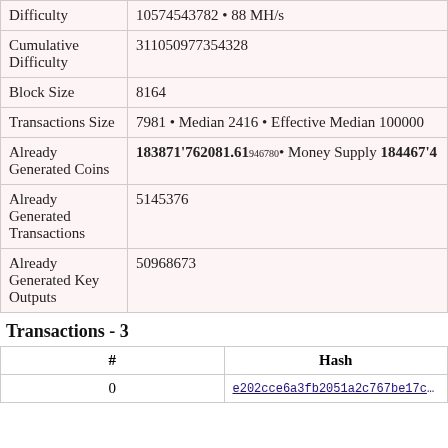| Field | Value |
| --- | --- |
| Difficulty | 10574543782 • 88 MH/s |
| Cumulative Difficulty | 311050977354328 |
| Block Size | 8164 |
| Transactions Size | 7981 • Median 2416 • Effective Median 100000 |
| Already Generated Coins | 183871'762081.61946780• Money Supply 184467'4... |
| Already Generated Transactions | 5145376 |
| Already Generated Key Outputs | 50968673 |
Transactions - 3
| # | Hash |
| --- | --- |
| 0 | e202cce6a3fb2051a2c767be17cbf206b331f137af4a5c809... |